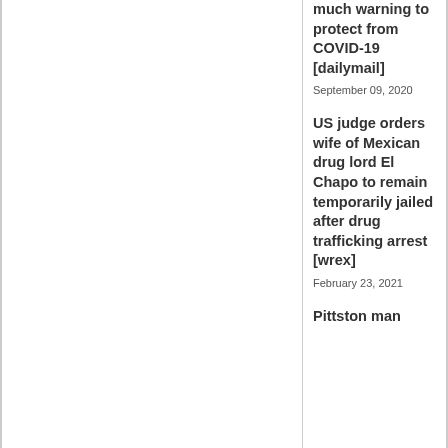much warning to protect from COVID-19 [dailymail]
September 09, 2020
US judge orders wife of Mexican drug lord El Chapo to remain temporarily jailed after drug trafficking arrest [wrex]
February 23, 2021
Pittston man